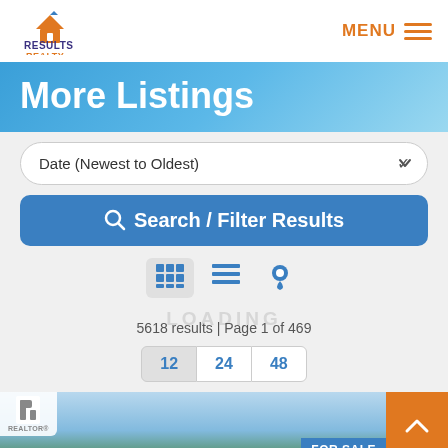[Figure (logo): Results Realty logo with orange house/triangle icon and blue text]
MENU ≡
More Listings
Date (Newest to Oldest)
🔍 Search / Filter Results
5618 results | Page 1 of 469
12  24  48
[Figure (screenshot): Property listing card with sky background, Realtor badge, and FOR SALE badge in blue]
FOR SALE